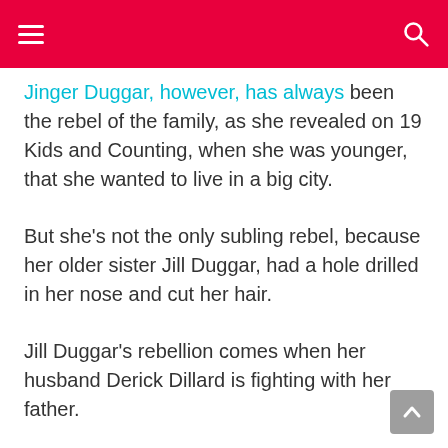Jinger Duggar, however, has always been the rebel of the family, as she revealed on 19 Kids and Counting, when she was younger, that she wanted to live in a big city.
But she's not the only subling rebel, because her older sister Jill Duggar, had a hole drilled in her nose and cut her hair.
Jill Duggar's rebellion comes when her husband Derick Dillard is fighting with her father.
Derick accused Jim Bob of not paying his adult children for their appearances on Counting On.